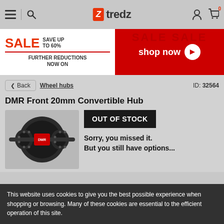tredz — navigation bar with hamburger, search, logo, user and cart icons (cart: 0)
[Figure (infographic): Sale banner: SALE SAVE UP TO 60% FURTHER REDUCTIONS NOW ON | SALE SALE shop now >]
< Back   Wheel hubs   ID: 32564
DMR Front 20mm Convertible Hub
[Figure (photo): DMR Front 20mm Convertible Hub bicycle wheel hub, black with red label, photographed on grey background]
OUT OF STOCK
Sorry, you missed it.
But you still have options...
This website uses cookies to give you the best possible experience when shopping or browsing. Many of these cookies are essential to the efficient operation of this site.